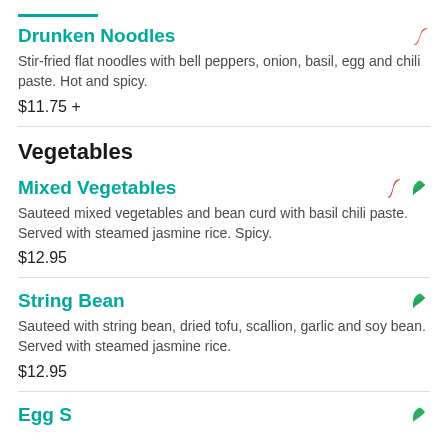Drunken Noodles
Stir-fried flat noodles with bell peppers, onion, basil, egg and chili paste. Hot and spicy.
$11.75 +
Vegetables
Mixed Vegetables
Sauteed mixed vegetables and bean curd with basil chili paste. Served with steamed jasmine rice. Spicy.
$12.95
String Bean
Sauteed with string bean, dried tofu, scallion, garlic and soy bean. Served with steamed jasmine rice.
$12.95
Egg S...